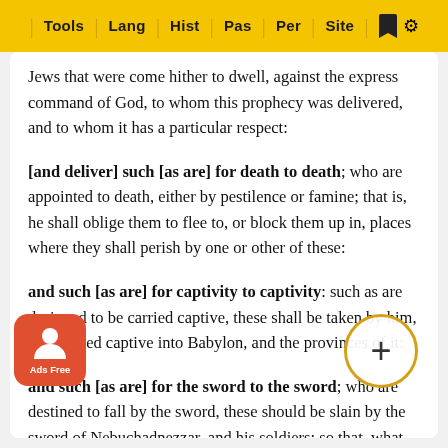Tools | Lang | Hist | Pas | Per | Site
Jews that were come hither to dwell, against the express command of God, to whom this prophecy was delivered, and to whom it has a particular respect:
[and deliver] such [as are] for death to death; who are appointed to death, either by pestilence or famine; that is, he shall oblige them to flee to, or block them up in, places where they shall perish by one or other of these:
and such [as are] for captivity to captivity: such as are designed to be carried captive, these shall be taken by him, and carried captive into Babylon, and the provinces of it:
and such [as are] for the sword to the sword; who are destined to fall by the sword, these should be slain by the sword of Nebuchadnezzar, and his soldiers; so that, what by one way or another, a general destruction should be made.